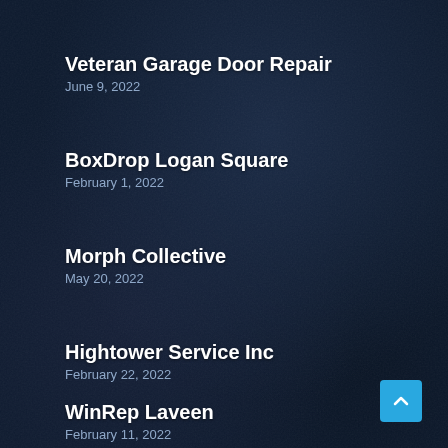Veteran Garage Door Repair
June 9, 2022
BoxDrop Logan Square
February 1, 2022
Morph Collective
May 20, 2022
Hightower Service Inc
February 22, 2022
WinRep Laveen
February 11, 2022